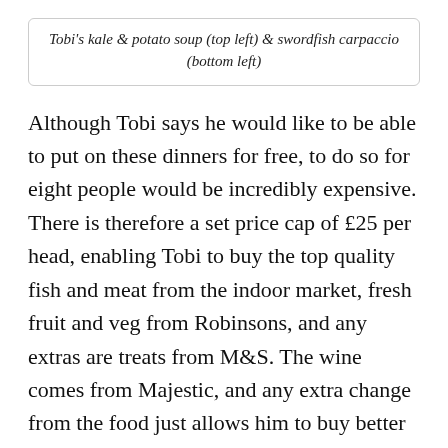Tobi's kale & potato soup (top left) & swordfish carpaccio (bottom left)
Although Tobi says he would like to be able to put on these dinners for free, to do so for eight people would be incredibly expensive. There is therefore a set price cap of £25 per head, enabling Tobi to buy the top quality fish and meat from the indoor market, fresh fruit and veg from Robinsons, and any extras are treats from M&S. The wine comes from Majestic, and any extra change from the food just allows him to buy better grade wines.
“I don’t claim to be a Michelin starred chef, nor a sommelier, so I always warn